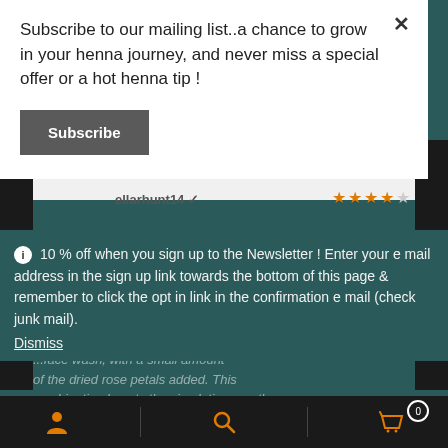Subscribe to our mailing list..a chance to grow in your henna journey, and never miss a special offer or a hot henna tip !
Subscribe
ellarhunt14
ℹ 10 % off when you sign up to the Newsletter ! Enter your e mail address in the sign up link towards the bottom of this page & remember to click the opt in link in the confirmation e mail (check junk mail).
Dismiss
...face wash, with a small amount of the dried rose petals added. This combination boosts the circulation, gently cleanses and gives a nice soft glow to like skin. Fantastic product. Thanks for.
person icon | search icon | cart icon (0)